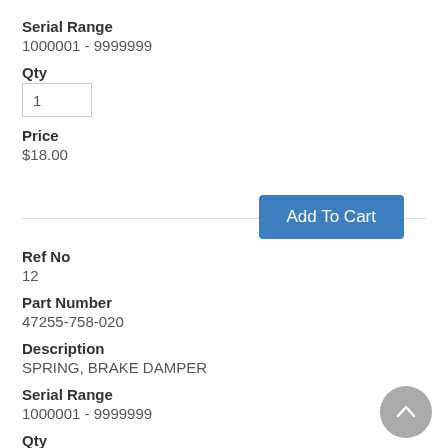Serial Range
1000001 - 9999999
Qty
1
Price
$18.00
[Figure (other): Add To Cart button]
Ref No
12
Part Number
47255-758-020
Description
SPRING, BRAKE DAMPER
Serial Range
1000001 - 9999999
Qty
1
Price